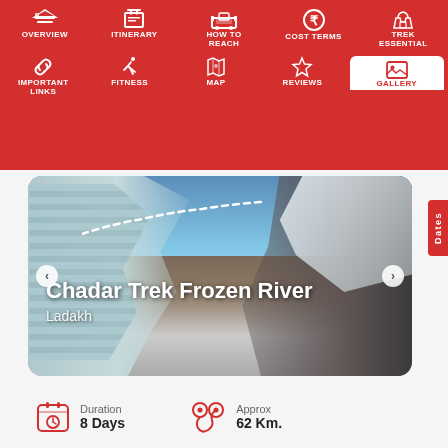[Figure (screenshot): Navigation menu bar with red background showing icons and labels: Overview, Itinerary, How To Reach, Cost Terms, Trek Essential (row 1); Important Links, Fitness, Map, Reviews, Gallery-active (row 2)]
[Figure (photo): Hero image of Chadar Trek Frozen River in Ladakh showing icy frozen waterfall on left, rocky mountain on right, blue sky in center, with white dashed path line overlay]
Chadar Trek Frozen River
Ladakh
Duration
8 Days
Approx
62 Km.